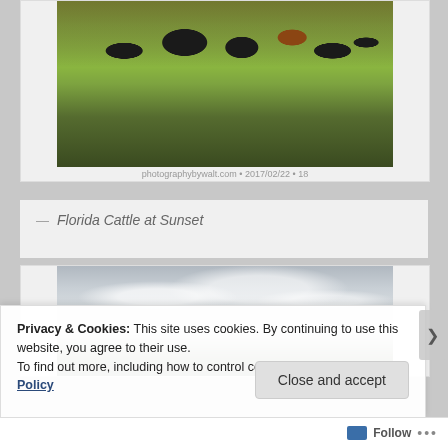[Figure (photo): Cattle grazing in a green field at sunset, with mostly black cattle and one brown/orange cattle visible among lush green grass]
— Florida Cattle at Sunset
[Figure (photo): Landscape photo showing a cloudy sky with white clouds over a green field with trees on the horizon]
Privacy & Cookies: This site uses cookies. By continuing to use this website, you agree to their use.
To find out more, including how to control cookies, see here: Cookie Policy
Close and accept